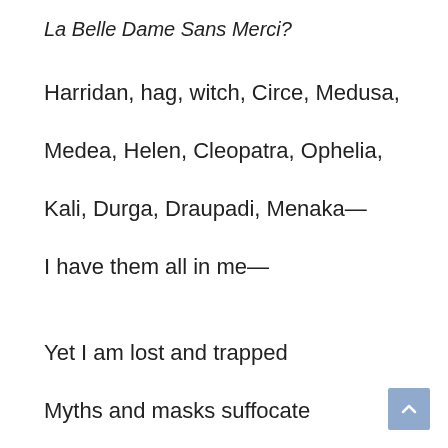La Belle Dame Sans Merci?
Harridan, hag, witch, Circe, Medusa,
Medea, Helen, Cleopatra, Ophelia,
Kali, Durga, Draupadi, Menaka—
I have them all in me—
Yet I am lost and trapped
Myths and masks suffocate